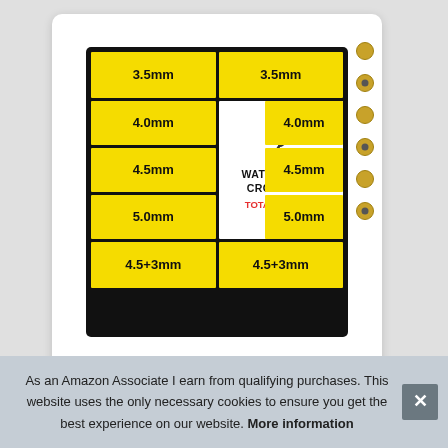[Figure (photo): A plastic box containing a Waterproof Crown Set with yellow-labeled compartments showing sizes 3.5mm, 4.0mm, 4.5mm, 5.0mm, and 4.5+3mm on both left and right columns. The center label reads 'WATERPROOF CROWN SET TOTAL:100 PCS' with a hammer icon. Small gold-colored crown caps are visible on the right side of the box.]
As an Amazon Associate I earn from qualifying purchases. This website uses the only necessary cookies to ensure you get the best experience on our website. More information